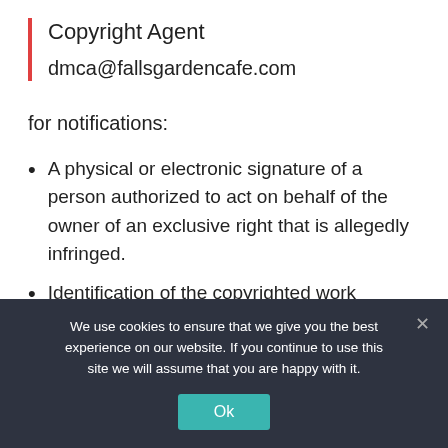Copyright Agent
dmca@fallsgardencafe.com
for notifications:
A physical or electronic signature of a person authorized to act on behalf of the owner of an exclusive right that is allegedly infringed.
Identification of the copyrighted work claimed to have been infringed, or, if multiple copyrighted works at a single online site are covered by a single
We use cookies to ensure that we give you the best experience on our website. If you continue to use this site we will assume that you are happy with it.